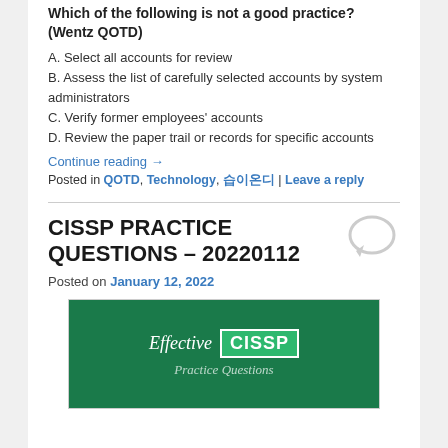Which of the following is not a good practice? (Wentz QOTD)
A. Select all accounts for review
B. Assess the list of carefully selected accounts by system administrators
C. Verify former employees' accounts
D. Review the paper trail or records for specific accounts
Continue reading →
Posted in QOTD, Technology, 마이온디 | Leave a reply
[Figure (illustration): Speech bubble / comment icon in light gray]
CISSP PRACTICE QUESTIONS – 20220112
Posted on January 12, 2022
[Figure (illustration): Green banner with 'Effective CISSP Practice Questions' text]